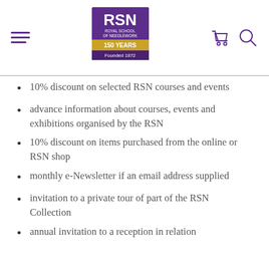[Figure (logo): RSN Royal School of Needlework 150 Years Founded 1872 logo in purple with gold banner]
10% discount on selected RSN courses and events
advance information about courses, events and exhibitions organised by the RSN
10% discount on items purchased from the online or RSN shop
monthly e-Newsletter if an email address supplied
invitation to a private tour of part of the RSN Collection
annual invitation to a reception in relation